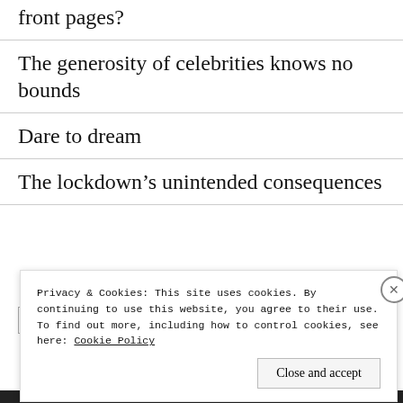front pages?
The generosity of celebrities knows no bounds
Dare to dream
The lockdown's unintended consequences
Privacy & Cookies: This site uses cookies. By continuing to use this website, you agree to their use.
To find out more, including how to control cookies, see here: Cookie Policy
Close and accept